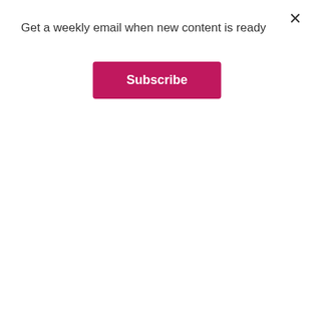Get a weekly email when new content is ready
Subscribe
that my stroke falls (ideally) in the arch and along the pads  of the foot with great toe pad getting the most attention.
If you are someone who has trouble targeting the strokes accurately, you might try putting a short cane  between the toes to act as a guide and that way you can get full coverage of the foot as you move the target toward the heel. Just remember that tapping the cane, bouncing the cane on the foot with a light  grip as is the bounce back stroke. At most a 2" swing to a 10" swing with no full force swings of the cane  are necessary for a good